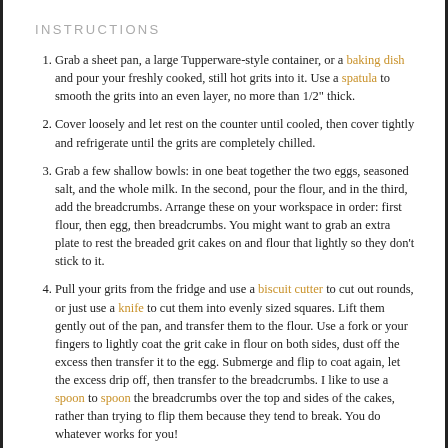INSTRUCTIONS
Grab a sheet pan, a large Tupperware-style container, or a baking dish and pour your freshly cooked, still hot grits into it. Use a spatula to smooth the grits into an even layer, no more than 1/2" thick.
Cover loosely and let rest on the counter until cooled, then cover tightly and refrigerate until the grits are completely chilled.
Grab a few shallow bowls: in one beat together the two eggs, seasoned salt, and the whole milk. In the second, pour the flour, and in the third, add the breadcrumbs. Arrange these on your workspace in order: first flour, then egg, then breadcrumbs. You might want to grab an extra plate to rest the breaded grit cakes on and flour that lightly so they don't stick to it.
Pull your grits from the fridge and use a biscuit cutter to cut out rounds, or just use a knife to cut them into evenly sized squares. Lift them gently out of the pan, and transfer them to the flour. Use a fork or your fingers to lightly coat the grit cake in flour on both sides, dust off the excess then transfer it to the egg. Submerge and flip to coat again, let the excess drip off, then transfer to the breadcrumbs. I like to use a spoon to spoon the breadcrumbs over the top and sides of the cakes, rather than trying to flip them because they tend to break. You do whatever works for you!
After all the grit cakes are breaded and ready to fry, transfer them to the freezer. Let them rest there while you heat the oil, so they are more likely to keep their shape. Don't worry,  they won't be cold inside.
Heat a very shallow layer of oil in a frying pan over medium-high heat. When the oil is shimmering (you can toss a breadcrumb in and see if it sizzles, too)